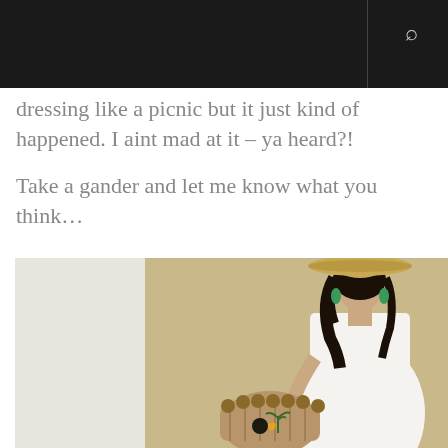dressing like a picnic but it just kind of happened. I aint mad at it – ya heard?!
Take a gander and let me know what you think…
[Figure (photo): Woman wearing a wide-brim straw hat, green drop earrings, white button-down dress, holding a woven basket bag with pom-poms and a toucan embroidery, standing in a doorway]